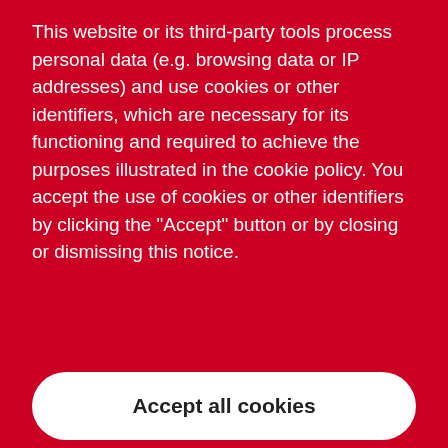This website or its third-party tools process personal data (e.g. browsing data or IP addresses) and use cookies or other identifiers, which are necessary for its functioning and required to achieve the purposes illustrated in the cookie policy. You accept the use of cookies or other identifiers by clicking the "Accept" button or by closing or dismissing this notice.
Accept all cookies
Cookie settings
How you heard about us
Submit